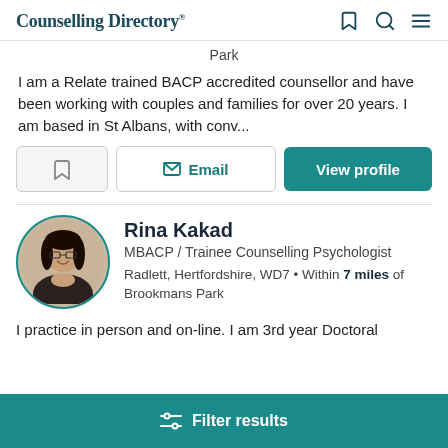Counselling Directory
Park
I am a Relate trained BACP accredited counsellor and have been working with couples and families for over 20 years. I am based in St Albans, with conv...
Email | View profile
Rina Kakad
MBACP / Trainee Counselling Psychologist
Radlett, Hertfordshire, WD7 • Within 7 miles of Brookmans Park
I practice in person and on-line. I am 3rd year Doctoral
Filter results